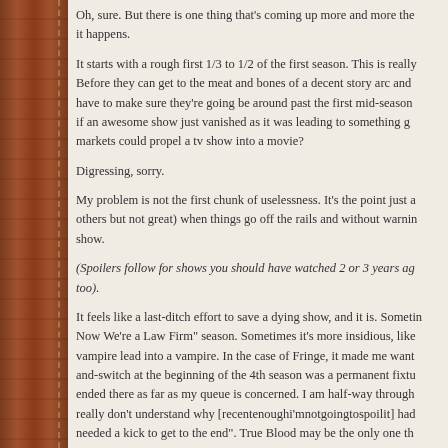Oh, sure. But there is one thing that's coming up more and more the... it happens.
It starts with a rough first 1/3 to 1/2 of the first season. This is really... Before they can get to the meat and bones of a decent story arc and... have to make sure they're going be around past the first mid-season... if an awesome show just vanished as it was leading to something g... markets could propel a tv show into a movie?
Digressing, sorry.
My problem is not the first chunk of uselessness. It's the point just a... others but not great) when things go off the rails and without warnin... show.
(Spoilers follow for shows you should have watched 2 or 3 years ag... too).
It feels like a last-ditch effort to save a dying show, and it is. Sometin... Now We're a Law Firm" season. Sometimes it's more insidious, like... vampire lead into a vampire. In the case of Fringe, it made me want... and-switch at the beginning of the 4th season was a permanent fixtu... ended there as far as my queue is concerned. I am half-way through... really don't understand why [recentenoughi'mnotgoingtospoilit] had... needed a kick to get to the end". True Blood may be the only one th...